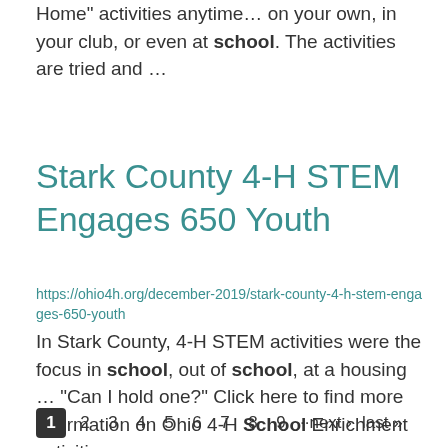Home" activities anytime... on your own, in your club, or even at school. The activities are tried and ...
Stark County 4-H STEM Engages 650 Youth
https://ohio4h.org/december-2019/stark-county-4-h-stem-engages-650-youth
In Stark County, 4-H STEM activities were the focus in school, out of school, at a housing ... “Can I hold one?” Click here to find more information on Ohio 4-H School Enrichment activities.   ...
1  2  3  4  5  6  7  8  9  ··next ›  last »